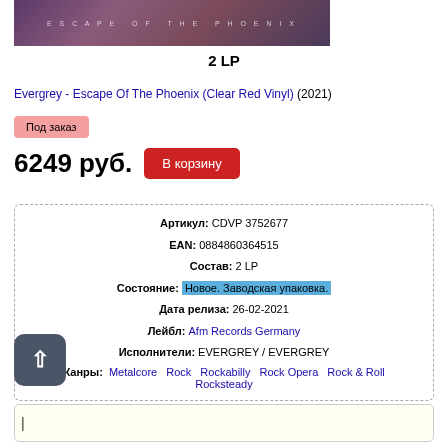[Figure (photo): Album cover for Evergrey - Escape Of The Phoenix, showing 'ESCAPE OF THE PHOENIX' text on a dark purple/maroon background]
2 LP
Evergrey - Escape Of The Phoenix (Clear Red Vinyl) (2021)
Под заказ
6249 руб.
| Артикул: | CDVP 3752677 |
| EAN: | 0884860364515 |
| Состав: | 2 LP |
| Состояние: | Новое. Заводская упаковка. |
| Дата релиза: | 26-02-2021 |
| Лейбл: | Afm Records Germany |
| Исполнители: | EVERGREY / EVERGREY |
| Жанры: | Metalcore Rock Rockabilly Rock Opera Rock & Roll Rocksteady |